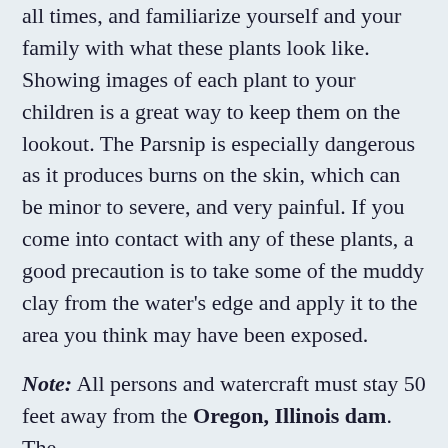all times, and familiarize yourself and your family with what these plants look like. Showing images of each plant to your children is a great way to keep them on the lookout. The Parsnip is especially dangerous as it produces burns on the skin, which can be minor to severe, and very painful. If you come into contact with any of these plants, a good precaution is to take some of the muddy clay from the water's edge and apply it to the area you think may have been exposed.
Note: All persons and watercraft must stay 50 feet away from the Oregon, Illinois dam. The